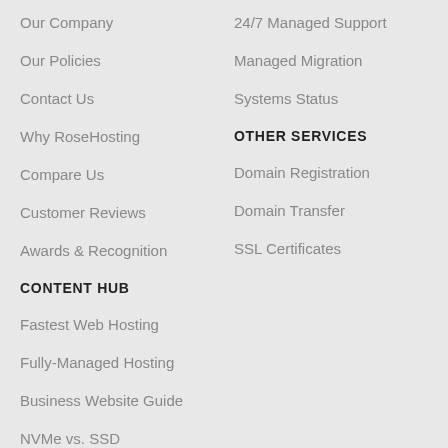Our Company
24/7 Managed Support
Our Policies
Managed Migration
Contact Us
Systems Status
Why RoseHosting
OTHER SERVICES
Compare Us
Domain Registration
Customer Reviews
Domain Transfer
Awards & Recognition
SSL Certificates
CONTENT HUB
Fastest Web Hosting
Fully-Managed Hosting
Business Website Guide
NVMe vs. SSD